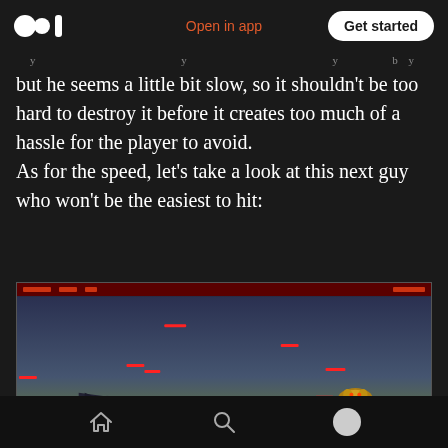Medium logo | Open in app | Get started
but he seems a little bit slow, so it shouldn't be too hard to destroy it before it creates too much of a hassle for the player to avoid.
As for the speed, let's take a look at this next guy who won't be the easiest to hit:
[Figure (screenshot): Video game screenshot showing a side-scrolling shooter. A dark sky background with a horizon line. A jet aircraft on the left side and a golden boss enemy on the bottom right. Multiple red laser/projectile streaks across the screen at various heights.]
Home | Search | User profile